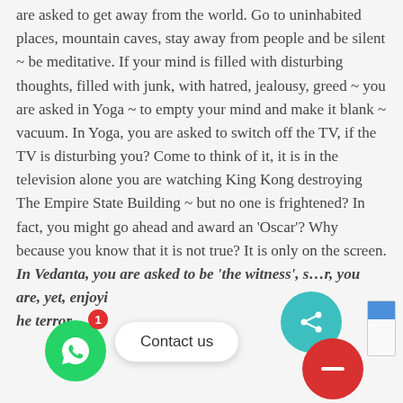are asked to get away from the world. Go to uninhabited places, mountain caves, stay away from people and be silent ~ be meditative. If your mind is filled with disturbing thoughts, filled with junk, with hatred, jealousy, greed ~ you are asked in Yoga ~ to empty your mind and make it blank ~ vacuum. In Yoga, you are asked to switch off the TV, if the TV is disturbing you? Come to think of it, it is in the television alone you are watching King Kong destroying The Empire State Building ~ but no one is frightened? In fact, you might go ahead and award an 'Oscar'? Why because you know that it is not true? It is only on the screen. In Vedanta, you are asked to be 'the witness', [s]... r, you are, yet, enjoyi... [h]e terror.
[Figure (other): WhatsApp contact button (green circle with phone icon and red badge showing '1'), Contact us speech bubble overlay, teal share button circle, red minus/cancel button circle, partial reCAPTCHA widget]